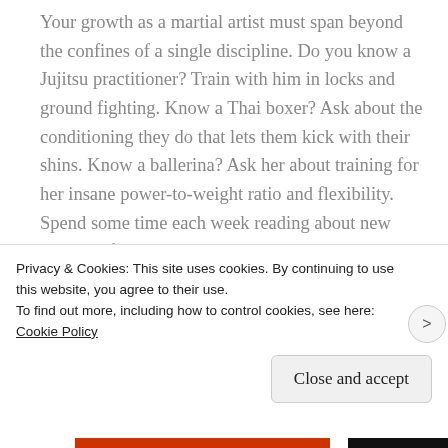Your growth as a martial artist must span beyond the confines of a single discipline. Do you know a Jujitsu practitioner? Train with him in locks and ground fighting. Know a Thai boxer? Ask about the conditioning they do that lets them kick with their shins. Know a ballerina? Ask her about training for her insane power-to-weight ratio and flexibility. Spend some time each week reading about new trends in fitness and injury rehabilitation as well.
[Figure (photo): Partial view of image strip with circular avatar icon on light beige background, food/recipe images in center and right panels]
Privacy & Cookies: This site uses cookies. By continuing to use this website, you agree to their use.
To find out more, including how to control cookies, see here: Cookie Policy
Close and accept